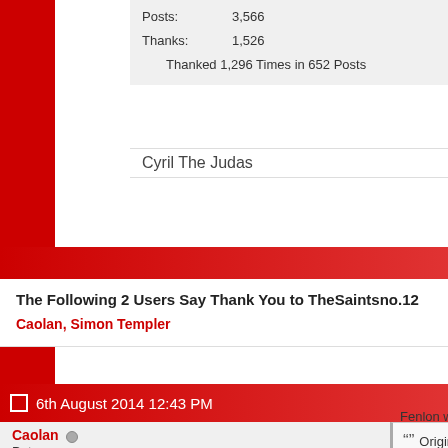Posts: 3,566
Thanks: 1,526
Thanked 1,296 Times in 652 Posts
Cyril The Judas
The Following 2 Users Say Thank You to TheSaintsno.12
Caolan, Simon Templer
6th August 2014 12:43 PM
Caolan
Patrons
Join Date: Jul 2010
Posts: 2,109
Thanks: 491
Thanked 687 Times in 325 Posts
Originally Posted by e...
It will be interesting to se... around. He did have a n... success around at Shels... Hawkins, Crowe etc. It's... they are not giving him t... got it from Shels and Bo... cheque book, we know h...
Fenlon will not be working off th...